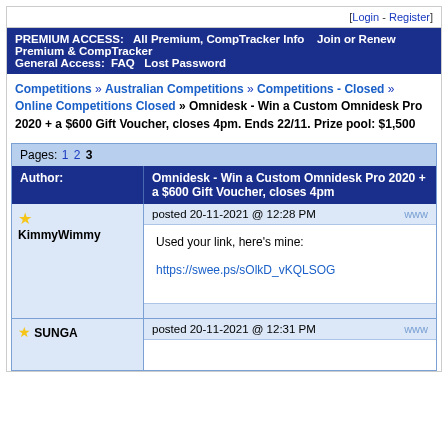[Login - Register]
PREMIUM ACCESS:   All Premium, CompTracker Info   Join or Renew Premium & CompTracker
General Access:  FAQ   Lost Password
Competitions » Australian Competitions » Competitions - Closed » Online Competitions Closed » Omnidesk - Win a Custom Omnidesk Pro 2020 + a $600 Gift Voucher, closes 4pm. Ends 22/11. Prize pool: $1,500
Pages: 1 2 3
| Author: | Omnidesk - Win a Custom Omnidesk Pro 2020 + a $600 Gift Voucher, closes 4pm |
| --- | --- |
| ★ KimmyWimmy | posted 20-11-2021 @ 12:28 PM | www
Used your link, here's mine:
https://swee.ps/sOlkD_vKQLSOG |
| ★ SUNGA | posted 20-11-2021 @ 12:31 PM | www |